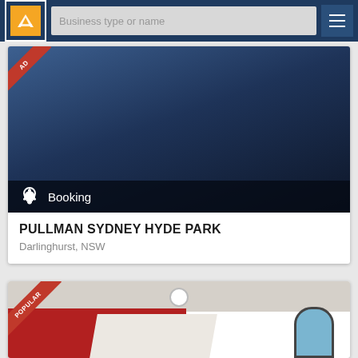Business type or name
[Figure (photo): Dark blue gradient hotel image with bell/concierge icon and Booking label]
PULLMAN SYDNEY HYDE PARK
Darlinghurst, NSW
[Figure (photo): Hotel room interior with red wall, white ceiling, round ceiling light, and arched window showing cityscape. POPULAR ribbon badge in corner.]